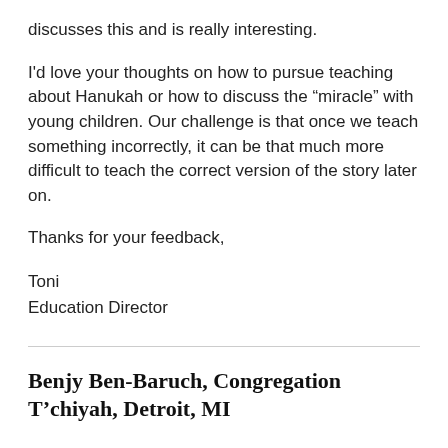discusses this and is really interesting.
I'd love your thoughts on how to pursue teaching about Hanukah or how to discuss the “miracle” with young children. Our challenge is that once we teach something incorrectly, it can be that much more difficult to teach the correct version of the story later on.
Thanks for your feedback,
Toni
Education Director
Benjy Ben-Baruch, Congregation T’chiyah, Detroit, MI